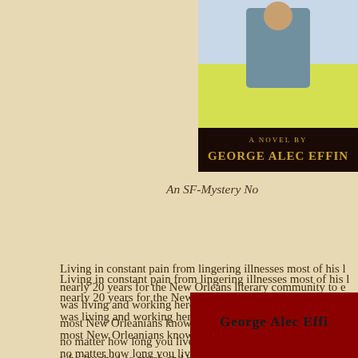[Figure (illustration): Top-right corner: partial book cover showing 'A NOVEL BY GEORGE ALEC EFFIN...' text on yellow background with illustrated figure]
An SF-Mystery No
Living in constant pain from lingering illnesses most of his life, it took nearly 20 years for the New Orleans literary community to e... was living and working here and even after, he was labeled... most New Orleanians know) if you weren't born or raised in... no matter how long you live here. George arrived as an adu... who laughed so much and brought laughter to his friends, h...
The final insult came from our local newspaper (a paper wh... described him in their obituary as a Cleveland native. The a... him a native of that location. George was from New Orlean...
[Figure (illustration): Bottom-right corner: partial red book cover showing 'GEORGE ALEC EFFI...' text in dark letters on red background]